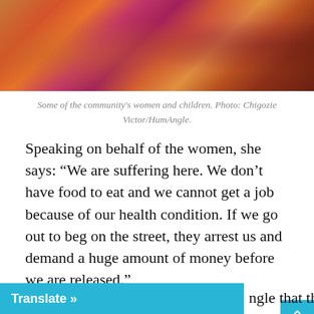[Figure (photo): Women and children in colorful traditional clothing sitting together outdoors.]
Some of the community's women and children. Photo: Chigozie Victor/HumAngle.
Speaking on behalf of the women, she says: “We are suffering here. We don’t have food to eat and we cannot get a job because of our health condition. If we go out to beg on the street, they arrest us and demand a huge amount of money before we are released.”
Having barely enough to feed their families, the women dream of formal education for their children.
M…ngle that they get donations from well